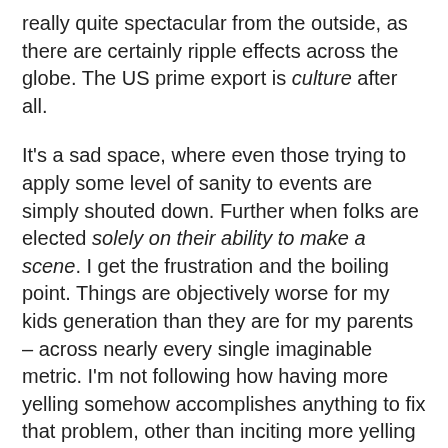really quite spectacular from the outside, as there are certainly ripple effects across the globe. The US prime export is culture after all.
It's a sad space, where even those trying to apply some level of sanity to events are simply shouted down. Further when folks are elected solely on their ability to make a scene. I get the frustration and the boiling point. Things are objectively worse for my kids generation than they are for my parents – across nearly every single imaginable metric. I'm not following how having more yelling somehow accomplishes anything to fix that problem, other than inciting more yelling and worse.
Perhaps there's a chance that the adults have not all left the room and that there are people that